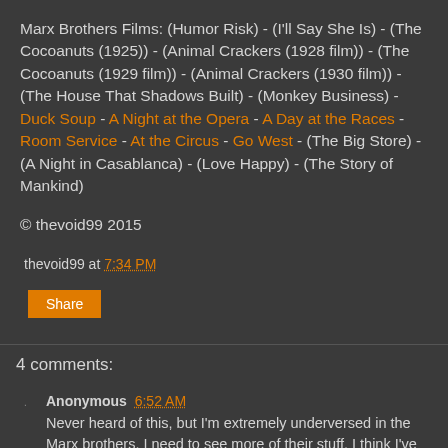Marx Brothers Films: (Humor Risk) - (I'll Say She Is) - (The Cocoanuts (1925)) - (Animal Crackers (1928 film)) - (The Cocoanuts (1929 film)) - (Animal Crackers (1930 film)) - (The House That Shadows Built) - (Monkey Business) - Duck Soup - A Night at the Opera - A Day at the Races - Room Service - At the Circus - Go West - (The Big Store) - (A Night in Casablanca) - (Love Happy) - (The Story of Mankind)
© thevoid99 2015
thevoid99 at 7:34 PM
Share
4 comments:
Anonymous 6:52 AM
Never heard of this, but I'm extremely underversed in the Marx brothers. I need to see more of their stuff. I think I've